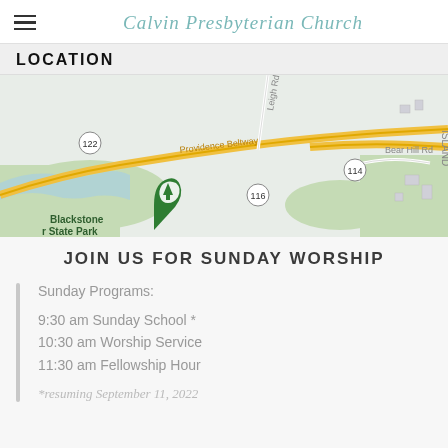Calvin Presbyterian Church
LOCATION
[Figure (map): Google Maps screenshot showing the area around Calvin Presbyterian Church, with Providence Beltway (yellow road), routes 122, 114, 116, Bear Hill Rd, Leigh Rd, and Blackstone River State Park with a green map pin marker.]
JOIN US FOR SUNDAY WORSHIP
Sunday Programs:
9:30 am Sunday School *
10:30 am Worship Service
11:30 am Fellowship Hour
*resuming September 11, 2022